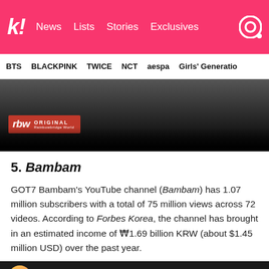k! News  Lists  Stories  Exclusives
BTS  BLACKPINK  TWICE  NCT  aespa  Girls' Generation
[Figure (photo): Dark-themed image with rbw ORIGINAL Rainbowbridge World red badge overlay]
5. Bambam
GOT7 Bambam's YouTube channel (Bambam) has 1.07 million subscribers with a total of 75 million views across 72 videos. According to Forbes Korea, the channel has brought in an estimated income of ₩1.69 billion KRW (about $1.45 million USD) over the past year.
[Figure (photo): Partial bottom image strip with circular logo visible]